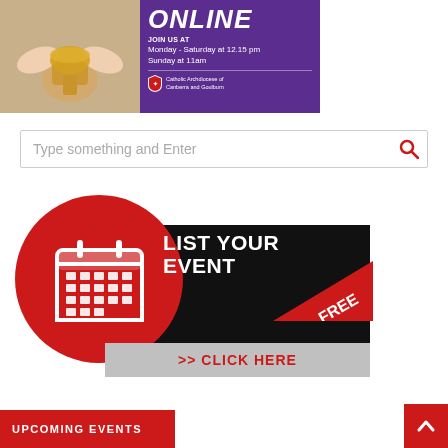[Figure (infographic): Mass online banner with photo of hands holding chalice on left and purple panel on right showing 'ONLINE', 'JOIN US AT Monday-Saturday at 12.15pm, Sunday at 11am', and Catholic Archdiocese of Canberra and Goulburn logo]
Type something and Enter
[Figure (infographic): List Your Event Free - red circle with calendar icon overlapping a black rectangle with white text 'LIST YOUR EVENT' and a diagonal red FREE badge, and gray bar with red text '>> CLICK HERE']
UPCOMING EVENTS